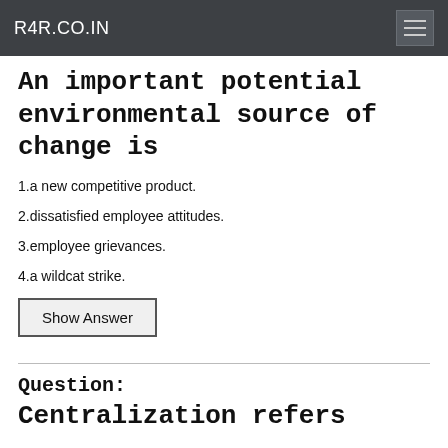R4R.CO.IN
An important potential environmental source of change is
1.a new competitive product.
2.dissatisfied employee attitudes.
3.employee grievances.
4.a wildcat strike.
Show Answer
Question:
Centralization refers